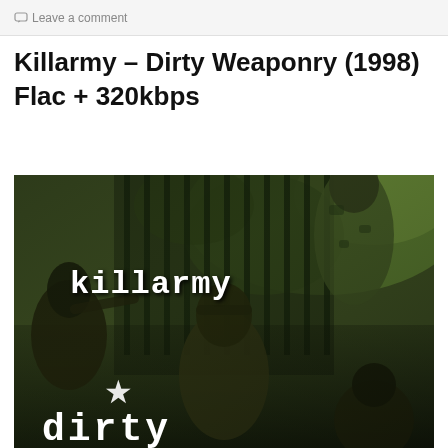Leave a comment
Killarmy – Dirty Weaponry (1998) Flac + 320kbps
[Figure (photo): Album cover for Killarmy – Dirty Weaponry (1998). Shows several people dressed in military/camouflage gear in an outdoor setting with trees. White text reads 'killarmy' in the upper portion and 'dirty' at the bottom. A white star is visible lower center.]